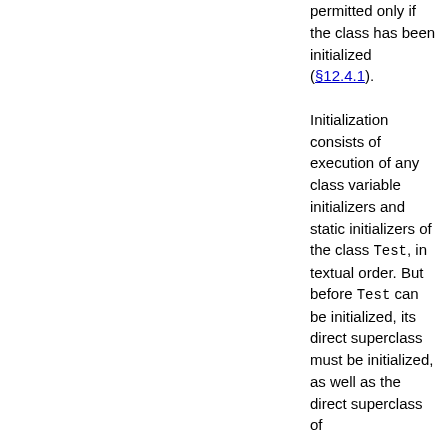permitted only if the class has been initialized (§12.4.1). Initialization consists of execution of any class variable initializers and static initializers of the class Test, in textual order. But before Test can be initialized, its direct superclass must be initialized, as well as the direct superclass of